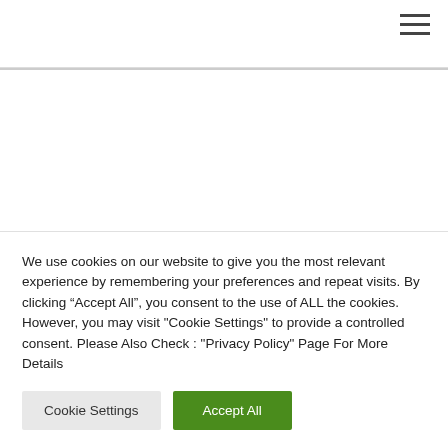We use cookies on our website to give you the most relevant experience by remembering your preferences and repeat visits. By clicking “Accept All”, you consent to the use of ALL the cookies. However, you may visit "Cookie Settings" to provide a controlled consent. Please Also Check : "Privacy Policy" Page For More Details
Cookie Settings
Accept All